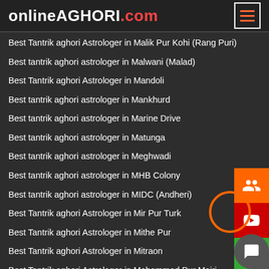onlineAGHORI.com
Best Tantrik aghori Astrologer in Malik Pur Kohi (Rang Puri)
Best tantrik aghori astrologer in Malwani (Malad)
Best Tantrik aghori Astrologer in Mandoli
Best tantrik aghori astrologer in Mankhurd
Best tantrik aghori astrologer in Marine Drive
Best tantrik aghori astrologer in Matunga
Best tantrik aghori astrologer in Meghwadi
Best tantrik aghori astrologer in MHB Colony
Best tantrik aghori astrologer in MIDC (Andheri)
Best Tantrik aghori Astrologer in Mir Pur Turk
Best Tantrik aghori Astrologer in Mithe Pur
Best Tantrik aghori Astrologer in Mitraon
Best Tantrik aghori Astrologer in Mohammad Pur Majri
Best tantrik aghori astrologer in MRA Marg
Best tantrik aghori astrologer in Mulund
Best Tantrik aghori Astrologer in Mundka
Best Tantrik aghori Astrologer in Mustafabad